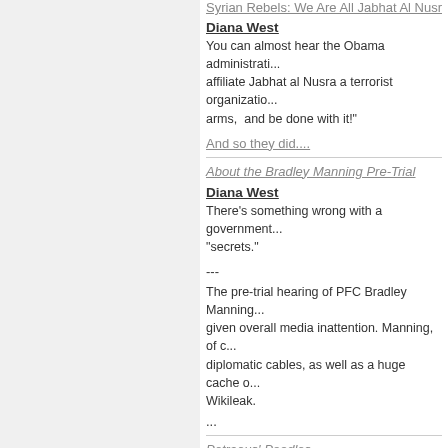Syrian Rebels: We Are All Jabhat Al Nusr...
Diana West
You can almost hear the Obama administrati... affiliate Jabhat al Nusra a terrorist organizatio... arms,  and be done with it!"
And so they did....
About the Bradley Manning Pre-Trial
Diana West
There's something wrong with a government... "secrets."
---
The pre-trial hearing of PFC Bradley Manning... given overall media inattention. Manning, of... diplomatic cables, as well as a huge cache o... Wikileak.
...
Petraeus' Poodles
Diana West
No doubt in the spirit of the season, somebo...